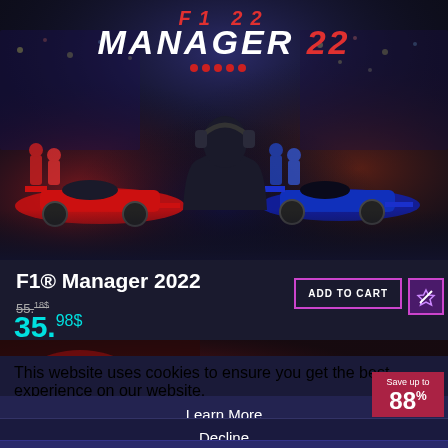[Figure (screenshot): F1 Manager 2022 game cover showing a person in silhouette with headphones watching pit crew work on red Ferrari and blue Red Bull F1 cars. 'MANAGER 22' text in large letters at top with red stars.]
F1® Manager 2022
55.18$
35.98$
ADD TO CART
This website uses cookies to ensure you get the best experience on our website.
Save up to 88%
Learn More
Decline
Allow All